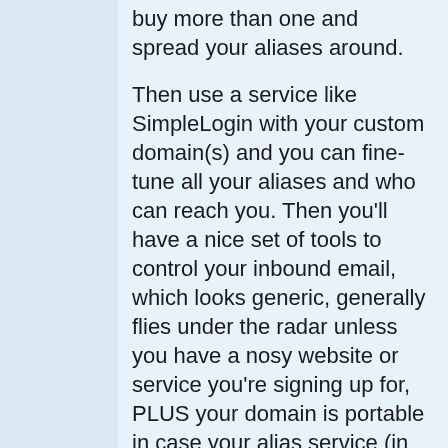buy more than one and spread your aliases around.
Then use a service like SimpleLogin with your custom domain(s) and you can fine-tune all your aliases and who can reach you. Then you'll have a nice set of tools to control your inbound email, which looks generic, generally flies under the radar unless you have a nosy website or service you're signing up for, PLUS your domain is portable in case your alias service (in this example, SimpleLogin), goes out of business. Or you just want to move service providers.
Worst case scenario, a domain gets "outed" with your personal WHOIS info...